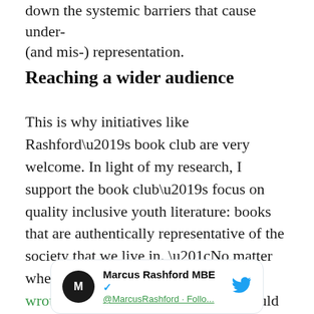down the systemic barriers that cause under-(and mis-) representation.
Reaching a wider audience
This is why initiatives like Rashford’s book club are very welcome. In light of my research, I support the book club’s focus on quality inclusive youth literature: books that are authentically representative of the society that we live in. “No matter where you grow up”, Rashford wrote in a statement, “talent should be recognised and championed”.
[Figure (screenshot): Twitter/X card showing Marcus Rashford MBE verified account with avatar showing letter M on dark background and blue Twitter bird icon in top right corner]